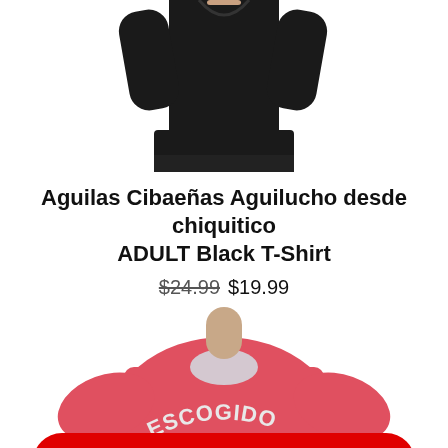[Figure (photo): Person wearing a black t-shirt, cropped at torso, white background]
Aguilas Cibaeñas Aguilucho desde chiquitico ADULT Black T-Shirt
$24.99  $19.99
[Figure (photo): Person wearing a red Escogido t-shirt with team logo, cropped view]
MENU